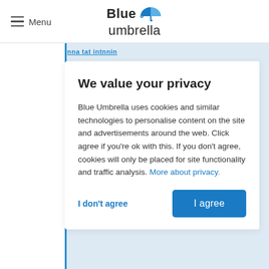Blue umbrella
We value your privacy
Blue Umbrella uses cookies and similar technologies to personalise content on the site and advertisements around the web. Click agree if you're ok with this. If you don't agree, cookies will only be placed for site functionality and traffic analysis. More about privacy.
I don't agree
I agree